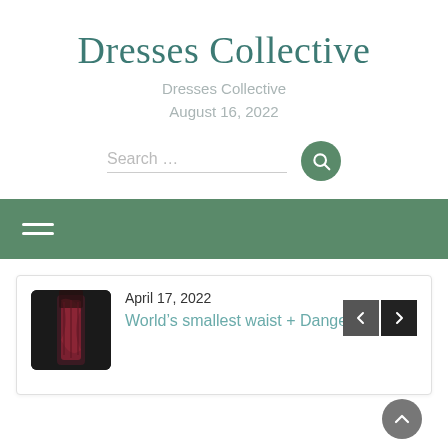Dresses Collective
Dresses Collective
August 16, 2022
[Figure (screenshot): Search bar with placeholder text 'Search ...' and a dark green circular search button with a magnifying glass icon]
[Figure (screenshot): Dark green navigation bar with a white hamburger menu icon on the left]
[Figure (screenshot): Post card with thumbnail image of a woman in a corset dress, dated April 17, 2022, with title 'World's smallest waist + Dangers of Waist Training']
April 17, 2022
World’s smallest waist + Dangers of Waist Trainin